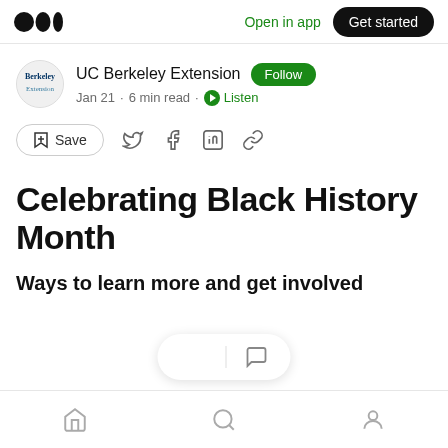Open in app | Get started
UC Berkeley Extension · Follow · Jan 21 · 6 min read · Listen
Save (share icons)
Celebrating Black History Month
Ways to learn more and get involved
Home | Search | Profile